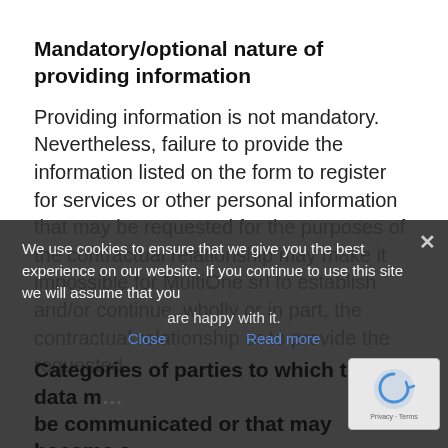Mandatory/optional nature of providing information
Providing information is not mandatory. Nevertheless, failure to provide the information listed on the form to register for services or other personal information that may be requested for the purposes of the contractual relationship may make it impossible for MultiOne srl to establish and/or continue, wholly or in part, the contractual relationship or to provide the requested
We use cookies to ensure that we give you the best experience on our website. If you continue to use this site we will assume that you are happy with it.
Categories of parties to which the data may be communicated or that may become aware of the data